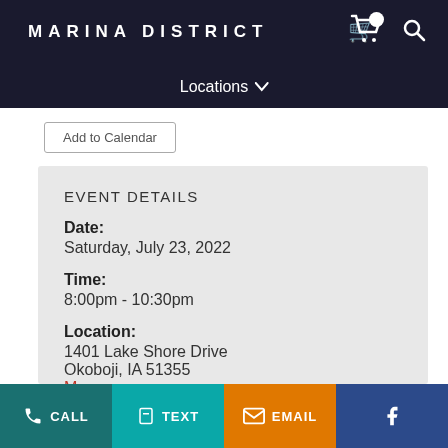MARINA DISTRICT — Locations
Add to Calendar
EVENT DETAILS
Date:
Saturday, July 23, 2022
Time:
8:00pm - 10:30pm
Location:
1401 Lake Shore Drive
Okoboji, IA 51355
Map
Contact:
CALL  TEXT  EMAIL  Facebook